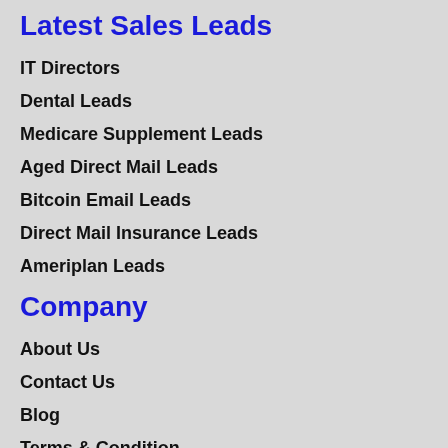Latest Sales Leads
IT Directors
Dental Leads
Medicare Supplement Leads
Aged Direct Mail Leads
Bitcoin Email Leads
Direct Mail Insurance Leads
Ameriplan Leads
Company
About Us
Contact Us
Blog
Terms & Condition